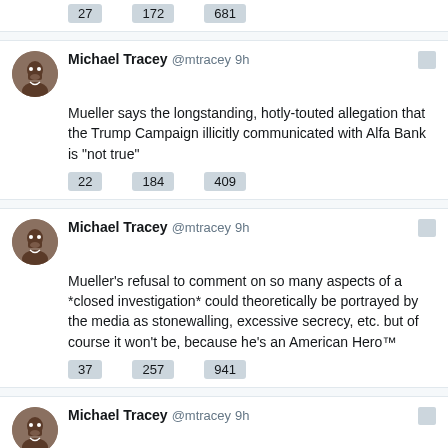27  172  681
Michael Tracey @mtracey 9h — Mueller says the longstanding, hotly-touted allegation that the Trump Campaign illicitly communicated with Alfa Bank is "not true"
22  184  409
Michael Tracey @mtracey 9h — Mueller's refusal to comment on so many aspects of a *closed investigation* could theoretically be portrayed by the media as stonewalling, excessive secrecy, etc. but of course it won't be, because he's an American Hero™
37  257  941
Michael Tracey @mtracey 9h — Mueller had an incredibly expansive investigative